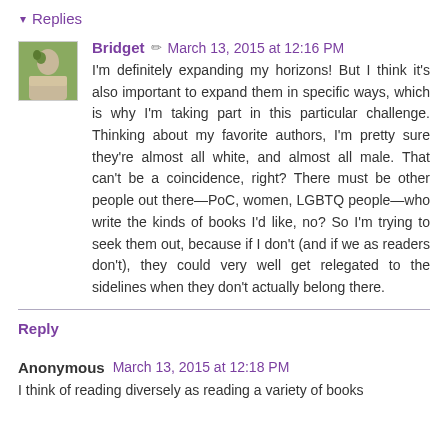▾ Replies
Bridget ✏ March 13, 2015 at 12:16 PM
I'm definitely expanding my horizons! But I think it's also important to expand them in specific ways, which is why I'm taking part in this particular challenge. Thinking about my favorite authors, I'm pretty sure they're almost all white, and almost all male. That can't be a coincidence, right? There must be other people out there—PoC, women, LGBTQ people—who write the kinds of books I'd like, no? So I'm trying to seek them out, because if I don't (and if we as readers don't), they could very well get relegated to the sidelines when they don't actually belong there.
Reply
Anonymous March 13, 2015 at 12:18 PM
I think of reading diversely as reading a variety of books